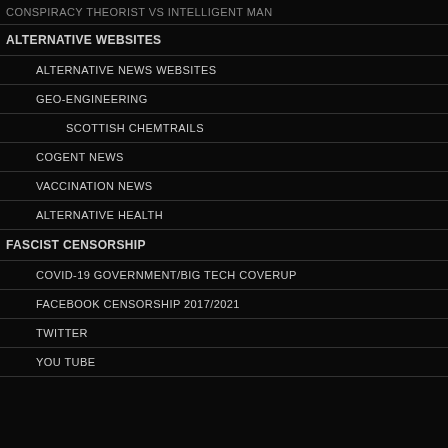CONSPIRACY THEORIST VS INTELLIGENT MAN
ALTERNATIVE WEBSITES
ALTERNATIVE NEWS WEBSITES
GEO-ENGINEERING
SCOTTISH CHEMTRAILS
COGENT NEWS
VACCINATION NEWS
ALTERNATIVE HEALTH
FASCIST CENSORSHIP
COVID-19 GOVERNMENT/BIG TECH COVERUP
FACEBOOK CENSORSHIP 2017/2021
TWITTER
YOU TUBE